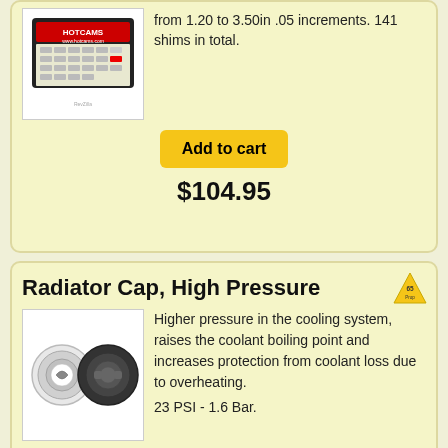from 1.20 to 3.50in .05 increments. 141 shims in total.
[Figure (photo): HotCams shim kit product box with shims in a plastic organizer tray]
Add to cart
$104.95
Radiator Cap, High Pressure
[Figure (photo): Prop 65 warning triangle badge]
[Figure (photo): Two radiator caps shown side by side - one chrome and one black]
Higher pressure in the cooling system, raises the coolant boiling point and increases protection from coolant loss due to overheating.
23 PSI - 1.6 Bar.
Go to Category
Add to cart